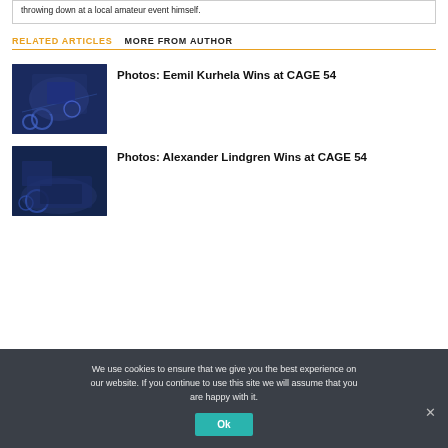throwing down at a local amateur event himself.
RELATED ARTICLES   MORE FROM AUTHOR
Photos: Eemil Kurhela Wins at CAGE 54
Photos: Alexander Lindgren Wins at CAGE 54
We use cookies to ensure that we give you the best experience on our website. If you continue to use this site we will assume that you are happy with it.